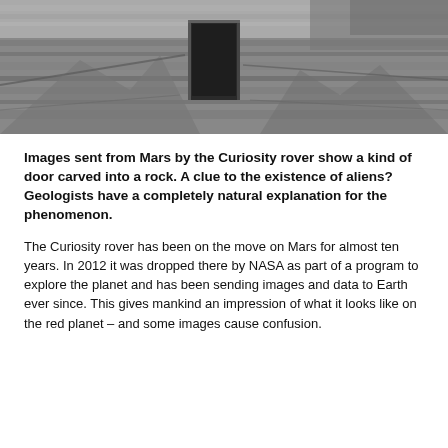[Figure (photo): Grayscale photograph taken by the Curiosity rover on Mars showing a rocky surface with what appears to be a door-like opening carved into a rock formation.]
Images sent from Mars by the Curiosity rover show a kind of door carved into a rock. A clue to the existence of aliens? Geologists have a completely natural explanation for the phenomenon.
The Curiosity rover has been on the move on Mars for almost ten years. In 2012 it was dropped there by NASA as part of a program to explore the planet and has been sending images and data to Earth ever since. This gives mankind an impression of what it looks like on the red planet – and some images cause confusion.